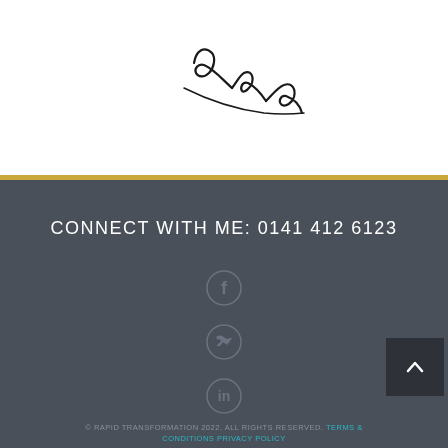[Figure (illustration): Handwritten cursive signature reading 'Amaan' in black ink on white background]
CONNECT WITH ME: 0141 412 6123
[Figure (illustration): Social media icons: Facebook, Twitter, LinkedIn in circular grey outlines]
© RAPID TRANSFORMATION 2022. ALL RIGHTS RESERVED. TERMS & CONDITIONS PRIVACY POLICY